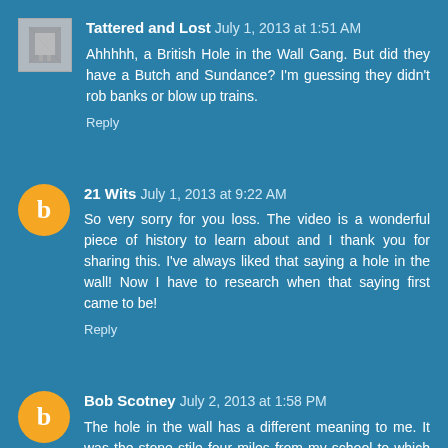Tattered and Lost · July 1, 2013 at 1:51 AM · Ahhhhh, a British Hole in the Wall Gang. But did they have a Butch and Sundance? I'm guessing they didn't rob banks or blow up trains. · Reply
21 Wits · July 1, 2013 at 9:22 AM · So very sorry for you loss. The video is a wonderful piece of history to learn about and I thank you for sharing this. I've always liked that saying a hole in the wall! Now I have to research when that saying first came to be! · Reply
Bob Scotney · July 2, 2013 at 1:58 PM · The hole in the wall has a different meaning to me. It was the stone stile four miles from my school to which we had